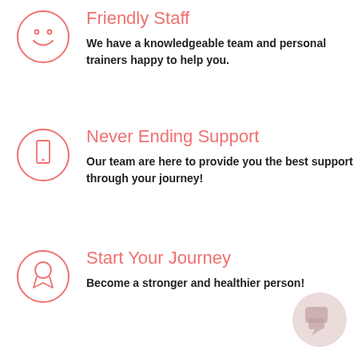[Figure (illustration): Circle with smiley face icon in salmon/pink outline]
Friendly Staff
We have a knowledgeable team and personal trainers happy to help you.
[Figure (illustration): Circle with smartphone/mobile icon in salmon/pink outline]
Never Ending Support
Our team are here to provide you the best support through your journey!
[Figure (illustration): Circle with award/ribbon icon in salmon/pink outline]
Start Your Journey
Become a stronger and healthier person!
[Figure (illustration): Round chat bubble button icon in light pink/mauve, bottom right corner]